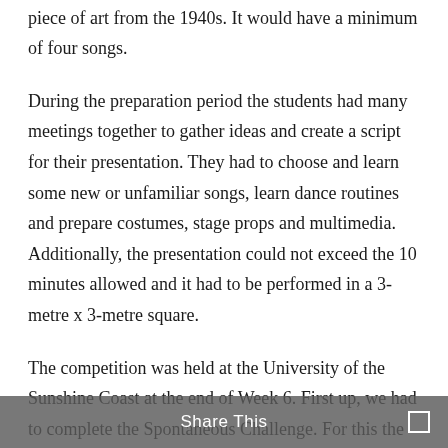fashion from the 1980s, a dance from the 1920s and a piece of art from the 1940s. It would have a minimum of four songs.
During the preparation period the students had many meetings together to gather ideas and create a script for their presentation. They had to choose and learn some new or unfamiliar songs, learn dance routines and prepare costumes, stage props and multimedia. Additionally, the presentation could not exceed the 10 minutes allowed and it had to be performed in a 3-metre x 3-metre square.
The competition was held at the University of the Sunshine Coast at the end of Week 6. First up, we had to complete the Spontaneous Challenge. For this the team is given 3-4 minutes to respond to a short
Share This